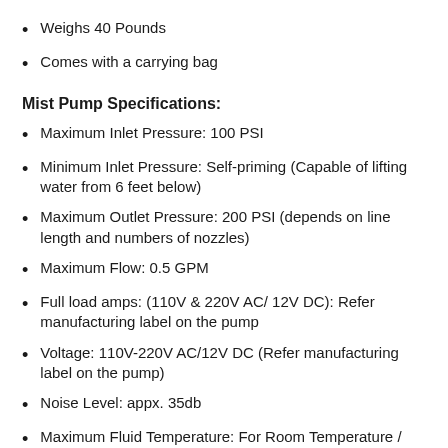Weighs 40 Pounds
Comes with a carrying bag
Mist Pump Specifications:
Maximum Inlet Pressure: 100 PSI
Minimum Inlet Pressure: Self-priming (Capable of lifting water from 6 feet below)
Maximum Outlet Pressure: 200 PSI (depends on line length and numbers of nozzles)
Maximum Flow: 0.5 GPM
Full load amps: (110V & 220V AC/ 12V DC): Refer manufacturing label on the pump
Voltage: 110V-220V AC/12V DC (Refer manufacturing label on the pump)
Noise Level: appx. 35db
Maximum Fluid Temperature: For Room Temperature / Cold Water applications only